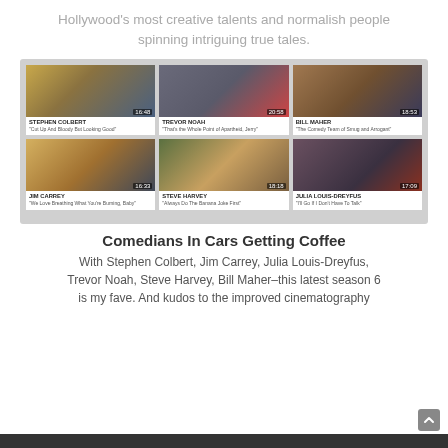Hollywood's most creative talents and normalish people spinning intriguing true tales.
[Figure (screenshot): A 3x2 grid of video thumbnails for Comedians in Cars Getting Coffee featuring Stephen Colbert (16:48), Trevor Noah (20:58), Bill Maher (18:53), Jim Carrey (16:33), Steve Harvey (18:18), and Julia Louis-Dreyfus (17:09), with their names and episode titles below each thumbnail.]
Comedians In Cars Getting Coffee
With Stephen Colbert, Jim Carrey, Julia Louis-Dreyfus, Trevor Noah, Steve Harvey, Bill Maher–this latest season 6 is my fave. And kudos to the improved cinematography